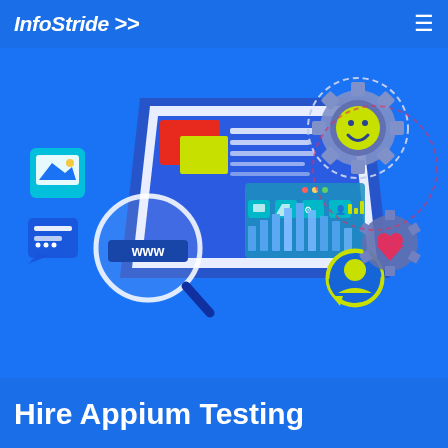InfoStride >>
[Figure (illustration): Isometric illustration of web/app testing concept: a large monitor displaying a web interface with bar charts and UI icons, a magnifying glass over a 'WWW' address bar, an image icon, a speech bubble icon, gear icons with smiley face and heart, colorful 3D elements on a blue background]
Hire Appium Testing